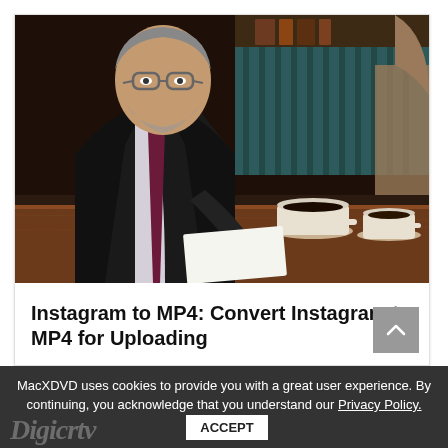[Figure (photo): A middle-aged man in a dark suit with a purple/maroon tie, wearing glasses, looking down at papers on a wooden table in what appears to be a café or restaurant setting. Two coffee cups are visible on the table to his right.]
Instagram to MP4: Convert Instagram to MP4 for Uploading
MacXDVD uses cookies to provide you with a great user experience. By continuing, you acknowledge that you understand our Privacy Policy. ACCEPT